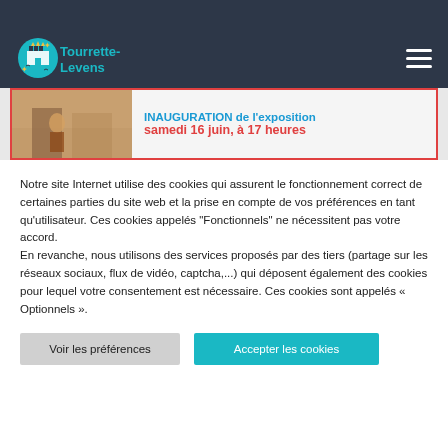Tourrette-Levens
[Figure (screenshot): Banner showing an inauguration announcement: 'INAUGURATION de l'exposition samedi 16 juin, à 17 heures' with a photo of an indoor scene]
Notre site Internet utilise des cookies qui assurent le fonctionnement correct de certaines parties du site web et la prise en compte de vos préférences en tant qu'utilisateur. Ces cookies appelés "Fonctionnels" ne nécessitent pas votre accord.
En revanche, nous utilisons des services proposés par des tiers (partage sur les réseaux sociaux, flux de vidéo, captcha,...) qui déposent également des cookies pour lequel votre consentement est nécessaire. Ces cookies sont appelés « Optionnels ».
Voir les préférences
Accepter les cookies